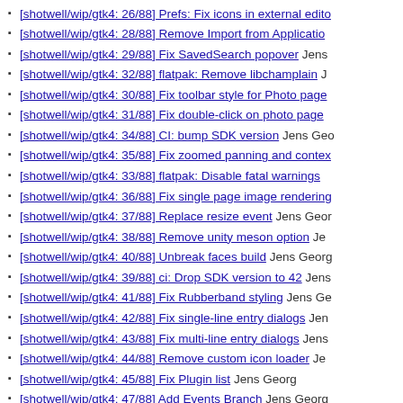[shotwell/wip/gtk4: 26/88] Prefs: Fix icons in external edito
[shotwell/wip/gtk4: 28/88] Remove Import from Applicatio
[shotwell/wip/gtk4: 29/88] Fix SavedSearch popover  Jens
[shotwell/wip/gtk4: 32/88] flatpak: Remove libchamplain  J
[shotwell/wip/gtk4: 30/88] Fix toolbar style for Photo page
[shotwell/wip/gtk4: 31/88] Fix double-click on photo page
[shotwell/wip/gtk4: 34/88] CI: bump SDK version  Jens Geo
[shotwell/wip/gtk4: 35/88] Fix zoomed panning and contex
[shotwell/wip/gtk4: 33/88] flatpak: Disable fatal warnings
[shotwell/wip/gtk4: 36/88] Fix single page image rendering
[shotwell/wip/gtk4: 37/88] Replace resize event  Jens Geor
[shotwell/wip/gtk4: 38/88] Remove unity meson option  Je
[shotwell/wip/gtk4: 40/88] Unbreak faces build  Jens Georg
[shotwell/wip/gtk4: 39/88] ci: Drop SDK version to 42  Jens
[shotwell/wip/gtk4: 41/88] Fix Rubberband styling  Jens Ge
[shotwell/wip/gtk4: 42/88] Fix single-line entry dialogs  Jen
[shotwell/wip/gtk4: 43/88] Fix multi-line entry dialogs  Jens
[shotwell/wip/gtk4: 44/88] Remove custom icon loader  Je
[shotwell/wip/gtk4: 45/88] Fix Plugin list  Jens Georg
[shotwell/wip/gtk4: 47/88] Add Events Branch  Jens Georg